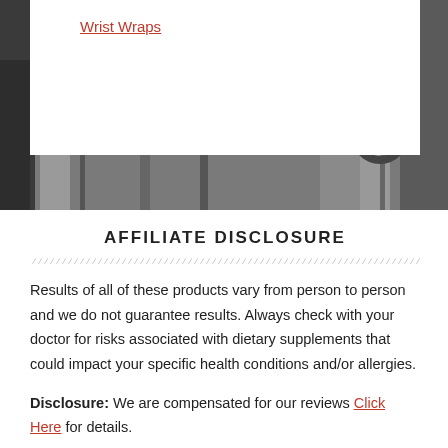[Figure (photo): Black and white gym background photo showing weight equipment and bars]
Wrist Wraps
AFFILIATE DISCLOSURE
Results of all of these products vary from person to person and we do not guarantee results. Always check with your doctor for risks associated with dietary supplements that could impact your specific health conditions and/or allergies.
Disclosure: We are compensated for our reviews Click Here for details.
MEDICAL DISCLAIMER